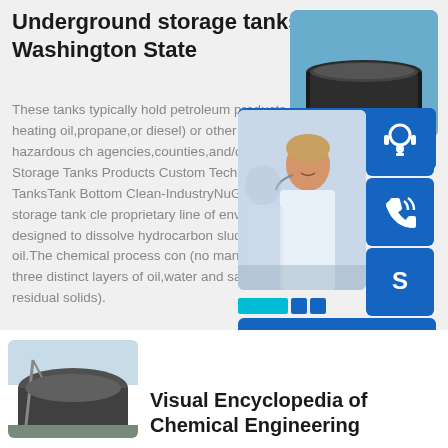Underground storage tanks - Washington State
These tanks typically hold petroleum products (like heating oil,propane,or diesel) or other potentially hazardous ch agencies,counties,and/or cities,regulate Storage Tanks Products Custom Technic Plastic Septic TanksTank Bottom Clean- IndustryNuGenTec's oil storage tank cle proprietary line of environmentally friend designed to dissolve hydrocarbon sludge marketable oil.The chemical process com (no manned entry) into three distinct layers of oil,water and sand (or other residual solids).
[Figure (photo): Storage tank photo top right]
[Figure (photo): 24/7 hour customer service panel with headset, phone, and Skype icons and Click to chat button]
[Figure (photo): Visual Encyclopedia of Chemical Engineering thumbnail showing industrial storage tank]
Visual Encyclopedia of Chemical Engineering